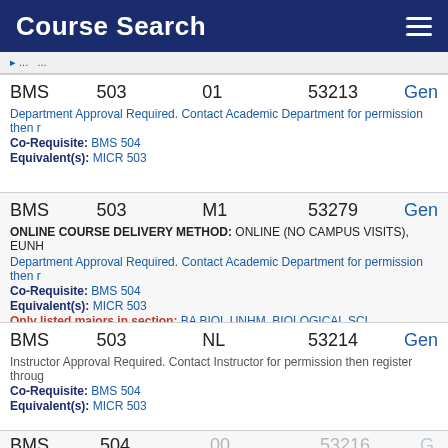Course Search
| Dept | Number | Section | CRN |  |
| --- | --- | --- | --- | --- |
| BMS | 503 | 01 | 53213 | Gen |
| BMS | 503 | M1 | 53279 | Gen |
| BMS | 503 | NL | 53214 | Gen |
| BMS | 504 | 01 | 53215 | Gen |
| BMS | 504 | 02 | 53216 | Gen |
Department Approval Required. Contact Academic Department for permission then r
Co-Requisite: BMS 504
Equivalent(s): MICR 503
ONLINE COURSE DELIVERY METHOD: ONLINE (NO CAMPUS VISITS), EUNH
Department Approval Required. Contact Academic Department for permission then r
Co-Requisite: BMS 504
Equivalent(s): MICR 503
Only listed majors in section: BA BIOL UNHM, BIOLOGICAL SCI, BIOTECHNOLOGY, NE
Instructor Approval Required. Contact Instructor for permission then register throug
Co-Requisite: BMS 504
Equivalent(s): MICR 503
Department Approval Required. Contact Academic Department for permission then r
Co-Requisite: BMS 503